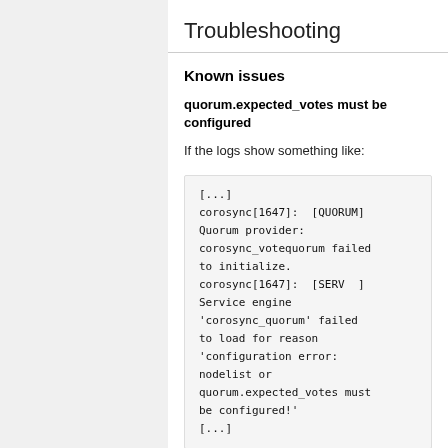Troubleshooting
Known issues
quorum.expected_votes must be configured
If the logs show something like:
[...]
corosync[1647]:  [QUORUM] Quorum provider: corosync_votequorum failed to initialize.
corosync[1647]:  [SERV  ] Service engine 'corosync_quorum' failed to load for reason 'configuration error: nodelist or quorum.expected_votes must be configured!'
[...]